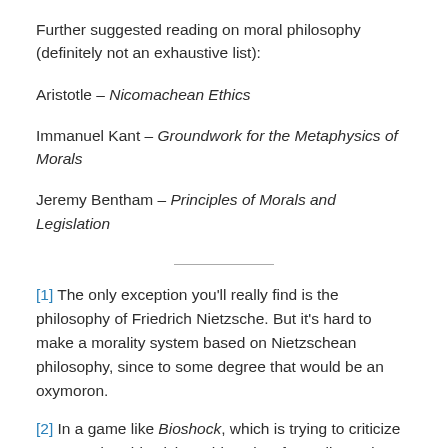Further suggested reading on moral philosophy (definitely not an exhaustive list):
Aristotle – Nicomachean Ethics
Immanuel Kant – Groundwork for the Metaphysics of Morals
Jeremy Bentham – Principles of Morals and Legislation
[1] The only exception you'll really find is the philosophy of Friedrich Nietzsche. But it's hard to make a morality system based on Nietzschean philosophy, since to some degree that would be an oxymoron.
[2] In a game like Bioshock, which is trying to criticize Ayn Rand's Objectivism, this unity of morality and